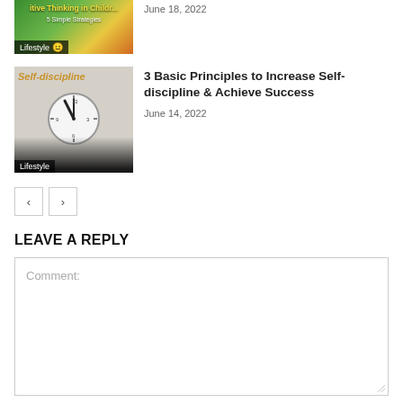[Figure (photo): Partially visible thumbnail of 'Positive Thinking in Children: 5 Simple Strategies' article with green/yellow background, labeled Lifestyle with emoji]
June 18, 2022
[Figure (photo): Thumbnail for 'Self-discipline' article showing woman holding a clock in front of her face, labeled Lifestyle, with 'Self-discipline' text in orange italic]
3 Basic Principles to Increase Self-discipline & Achieve Success
June 14, 2022
< >
LEAVE A REPLY
Comment: